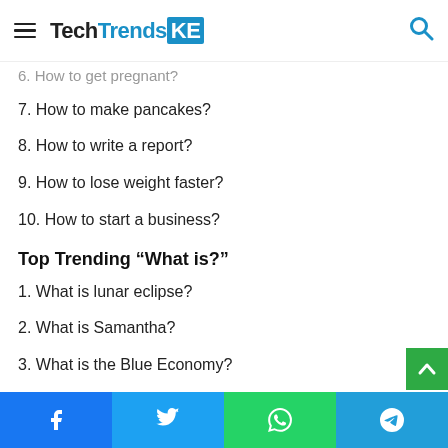TechTrendsKE
6. How to get pregnant?
7. How to make pancakes?
8. How to write a report?
9. How to lose weight faster?
10. How to start a business?
Top Trending “What is?”
1. What is lunar eclipse?
2. What is Samantha?
3. What is the Blue Economy?
4. What is sex?
Facebook | Twitter | WhatsApp | Telegram